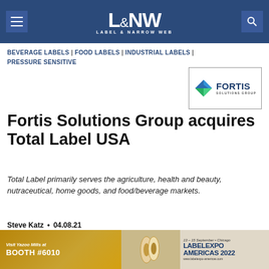L&NW LABEL & NARROW WEB
BEVERAGE LABELS | FOOD LABELS | INDUSTRIAL LABELS | PRESSURE SENSITIVE
[Figure (logo): Fortis Solutions Group logo with diamond-shaped icon in blue and green, company name in dark blue with 'SOLUTIONS GROUP' subtitle]
Fortis Solutions Group acquires Total Label USA
Total Label primarily serves the agriculture, health and beauty, nutraceutical, home goods, and food/beverage markets.
Steve Katz • 04.08.21
[Figure (infographic): Advertisement for Yazoo Mills at Labelexpo Americas 2022, Booth #6010, 13-15 September, Chicago, www.labelexpo-americas.com]